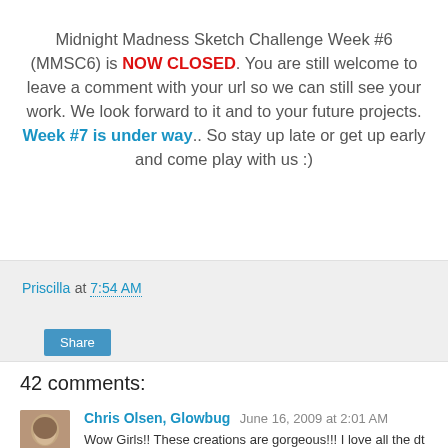Midnight Madness Sketch Challenge Week #6 (MMSC6) is NOW CLOSED. You are still welcome to leave a comment with your url so we can still see your work. We look forward to it and to your future projects. Week #7 is under way.. So stay up late or get up early and come play with us :)
Priscilla at 7:54 AM
Share
42 comments:
Chris Olsen, Glowbug June 16, 2009 at 2:01 AM
Wow Girls!! These creations are gorgeous!!! I love all the dt creations. I am so honored to receive this Inspiration Award from you girls. You are such a sweet and awesome group...